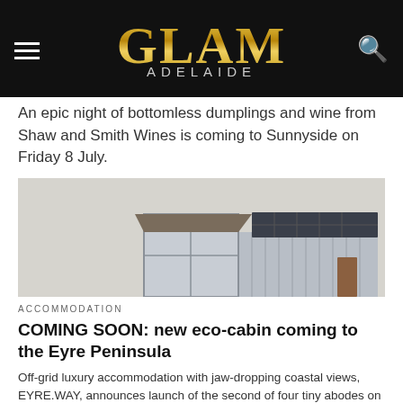GLAM ADELAIDE
An epic night of bottomless dumplings and wine from Shaw and Smith Wines is coming to Sunnyside on Friday 8 July.
[Figure (photo): Architectural rendering of a small eco-cabin with large glass windows and solar panels on a corrugated metal roof, set against a grey sky]
ACCOMMODATION
COMING SOON: new eco-cabin coming to the Eyre Peninsula
Off-grid luxury accommodation with jaw-dropping coastal views, EYRE.WAY, announces launch of the second of four tiny abodes on the Eyre Peninsula.